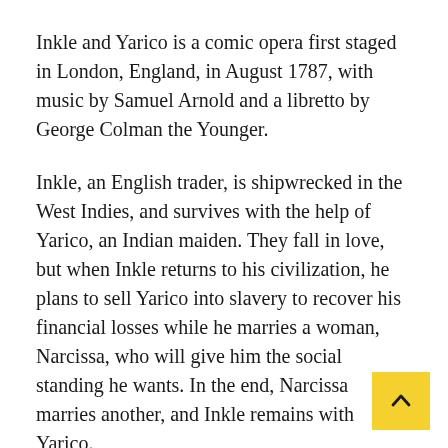Inkle and Yarico is a comic opera first staged in London, England, in August 1787, with music by Samuel Arnold and a libretto by George Colman the Younger.
Inkle, an English trader, is shipwrecked in the West Indies, and survives with the help of Yarico, an Indian maiden. They fall in love, but when Inkle returns to his civilization, he plans to sell Yarico into slavery to recover his financial losses while he marries a woman, Narcissa, who will give him the social standing he wants. In the end, Narcissa marries another, and Inkle remains with Yarico.